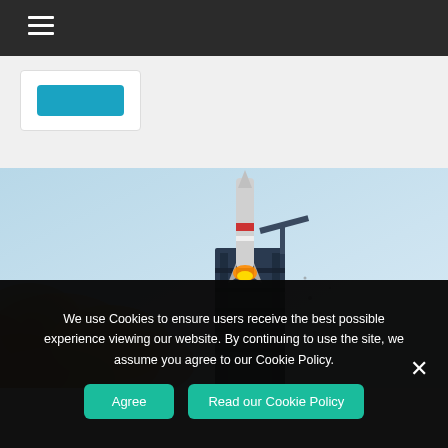≡ (hamburger menu navigation bar)
[Figure (screenshot): Teal/blue button inside a white card area below the navigation bar]
[Figure (photo): Rocket launch photo showing a rocket lifting off from a launch pad with orange/brown exhaust smoke billowing to the left, against a light blue sky]
We use Cookies to ensure users receive the best possible experience viewing our website. By continuing to use the site, we assume you agree to our Cookie Policy.
Agree   Read our Cookie Policy